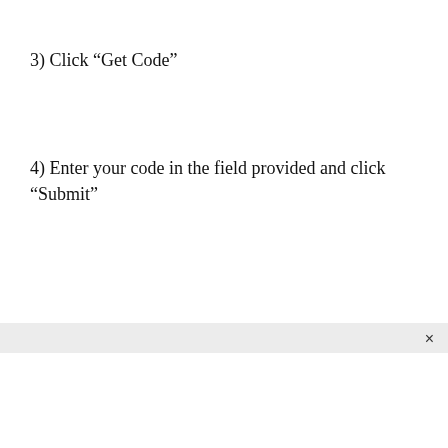3) Click “Get Code”
4) Enter your code in the field provided and click “Submit”